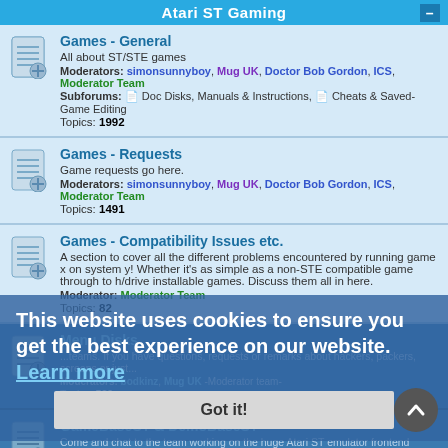Atari ST Gaming
Games - General
All about ST/STE games
Moderators: simonsunnyboy, Mug UK, Doctor Bob Gordon, ICS, Moderator Team
Subforums: Doc Disks, Manuals & Instructions, Cheats & Saved-Game Editing
Topics: 1992
Games - Requests
Game requests go here.
Moderators: simonsunnyboy, Mug UK, Doctor Bob Gordon, ICS, Moderator Team
Topics: 1491
Games - Compatibility Issues etc.
A section to cover all the different problems encountered by running game x on system y! Whether it's as simple as a non-STE compatible game through to h/drive installable games. Discuss them all in here.
Moderator: Moderator Team
Topics: 82
Menu Disks
Topics: 529
GameBaseST & DemoBaseST
Come and chat to the team working on the huge Atari ST emulator frontend projects
Moderators: SkylineDave, Goldrunner, Moderator Team
Topics: 130
This website uses cookies to ensure you get the best experience on our website. Learn more
Got it!